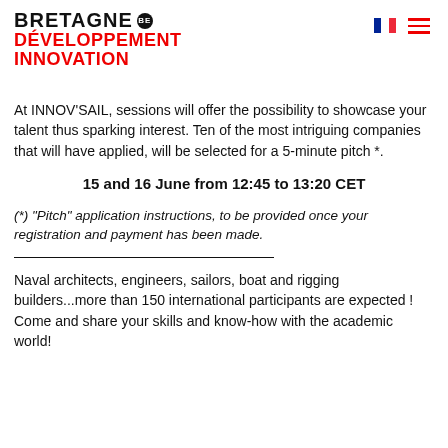BRETAGNE® DÉVELOPPEMENT INNOVATION
At INNOV'SAIL, sessions will offer the possibility to showcase your talent thus sparking interest. Ten of the most intriguing companies that will have applied, will be selected for a 5-minute pitch *.
15 and 16 June from 12:45 to 13:20 CET
(*) "Pitch" application instructions, to be provided once your registration and payment has been made.
Naval architects, engineers, sailors, boat and rigging builders...more than 150 international participants are expected !
Come and share your skills and know-how with the academic world!